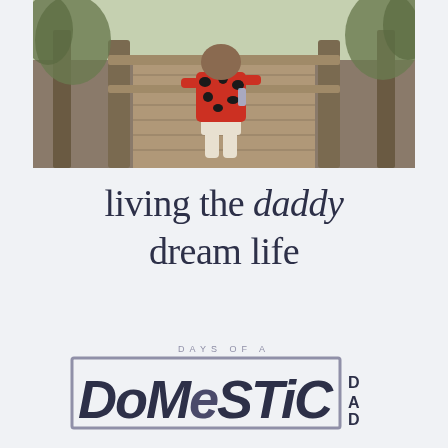[Figure (photo): A young child in a red and black patterned outfit walking away from the camera on a wooden boardwalk or bridge, with wooden railings on both sides and trees/nature in the background.]
living the daddy dream life
[Figure (logo): Days of a Domestic Dad logo. Text 'DAYS OF A' in small spaced caps above a rectangle border containing 'DOMESTIC' in large bold italic letters and 'DAD' stacked in smaller bold text on the right.]